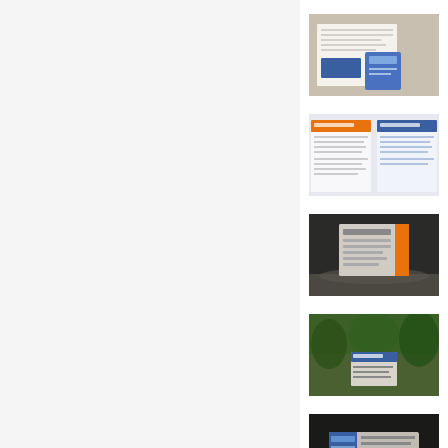[Figure (photo): Thumbnail image 1 (partial, top-cropped): person at desk, light grey/white background]
[Figure (photo): Thumbnail image 2: document/paper with blue folder or envelope on wooden surface]
[Figure (photo): Thumbnail image 3: two-page document spread with orange/blue header sections]
[Figure (photo): Thumbnail image 4: outdoor information kiosk/sign board with orange-accent panel, gravel ground]
[Figure (photo): Thumbnail image 5: outdoor nature scene with green foliage and a small calendar/sign board]
[Figure (photo): Thumbnail image 6: dark outdoor scene with rocks/plants and a document/sign with blue accents]
[Figure (photo): Thumbnail image 7: outdoor nature scene with green trees and a small sign/placard]